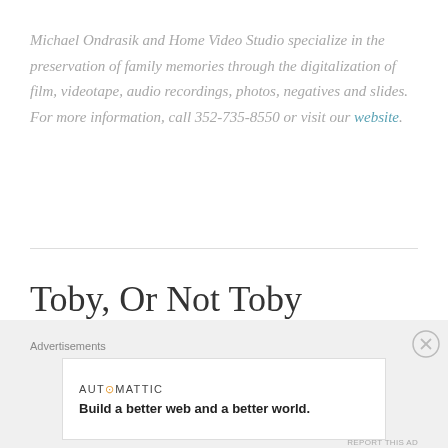Michael Ondrasik and Home Video Studio specialize in the preservation of family memories through the digitalization of film, videotape, audio recordings, photos, negatives and slides. For more information, call 352-735-8550 or visit our website.
Toby, Or Not Toby
SEPTEMBER 12, 2021 ~ LEAVE A COMMENT
[Figure (other): Advertisement banner: Automattic logo with tagline 'Build a better web and a better world.' with a close (X) button and 'Advertisements' label above]